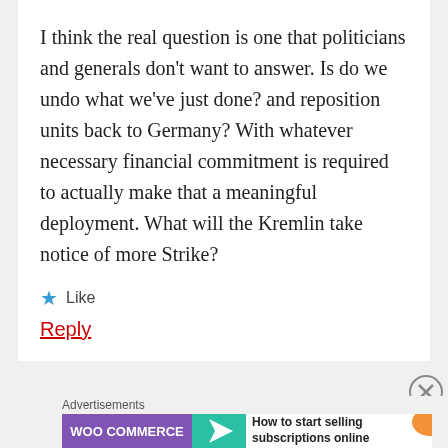I think the real question is one that politicians and generals don't want to answer. Is do we undo what we've just done? and reposition units back to Germany? With whatever necessary financial commitment is required to actually make that a meaningful deployment. What will the Kremlin take notice of more Strike?
★ Like
Reply
Advertisements
[Figure (other): WooCommerce advertisement banner with purple WooCommerce logo, teal arrow, and text 'How to start selling subscriptions online']